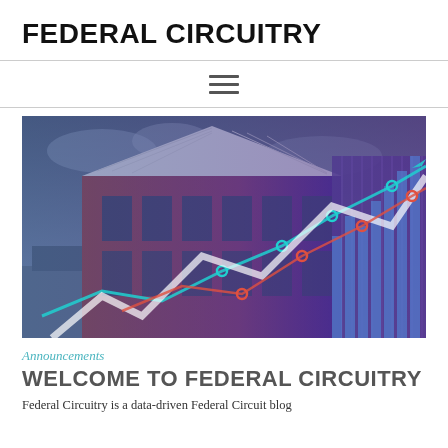FEDERAL CIRCUITRY
[Figure (infographic): Hero image of a red brick government/federal court building with overlaid data visualization graphics including bar charts and line charts in blue/teal and red, suggesting data-driven legal analysis.]
Announcements
WELCOME TO FEDERAL CIRCUITRY
Federal Circuitry is a data-driven Federal Circuit blog